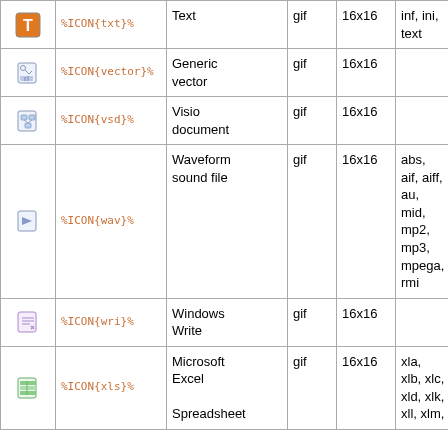| Icon | Variable | Name | Format | Size | Extensions |
| --- | --- | --- | --- | --- | --- |
| [T icon] | %ICON{txt}% | Text | gif | 16x16 | inf, ini, text |
| [vector icon] | %ICON{vector}% | Generic vector | gif | 16x16 |  |
| [vsd icon] | %ICON{vsd}% | Visio document | gif | 16x16 |  |
| [wav icon] | %ICON{wav}% | Waveform sound file | gif | 16x16 | abs, aif, aiff, au, mid, mp2, mp3, mpega, rmi |
| [wri icon] | %ICON{wri}% | Windows Write | gif | 16x16 |  |
| [xls icon] | %ICON{xls}% | Microsoft Excel Spreadsheet | gif | 16x16 | xla, xlb, xlc, xld, xlk, xll, xlm, |